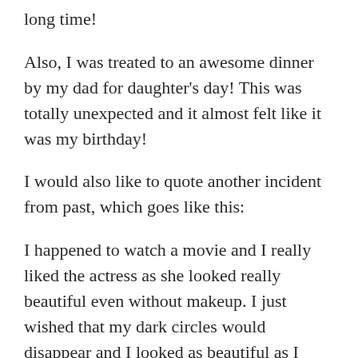long time!
Also, I was treated to an awesome dinner by my dad for daughter's day! This was totally unexpected and it almost felt like it was my birthday!
I would also like to quote another incident from past, which goes like this:
I happened to watch a movie and I really liked the actress as she looked really beautiful even without makeup. I just wished that my dark circles would disappear and I looked as beautiful as I looked during my high school years again.